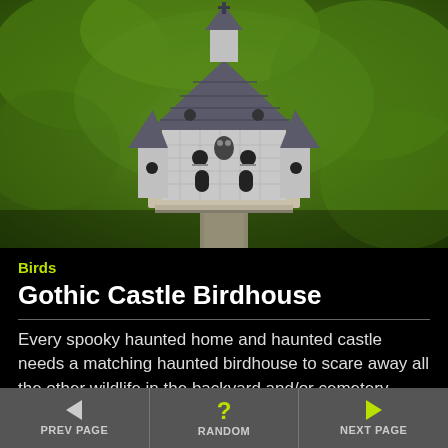[Figure (photo): A gothic castle-style birdhouse mounted on a white post, photographed against a blurred green foliage background. The birdhouse has dark gray/slate roofing, brick-patterned walls, multiple bird entry holes, and gothic architectural details.]
Birds
Gothic Castle Birdhouse
Every spooky haunted home and haunted castle needs a matching haunted birdhouse to scare away all the other wildlife in the backyard and/or cemetery.
PREV PAGE | RANDOM | NEXT PAGE